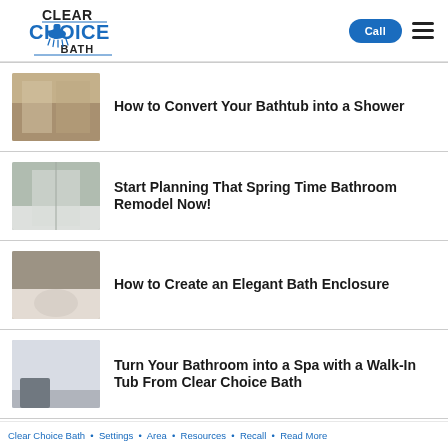Clear Choice Bath — Call / Menu
How to Convert Your Bathtub into a Shower
Start Planning That Spring Time Bathroom Remodel Now!
How to Create an Elegant Bath Enclosure
Turn Your Bathroom into a Spa with a Walk-In Tub From Clear Choice Bath
Clear Choice Bath — Settings — Area — Resources — Recall — Read More